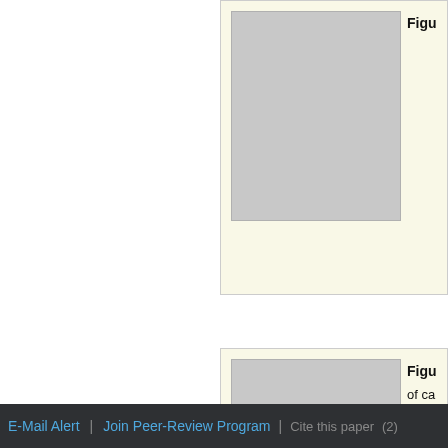[Figure (photo): Scientific figure panel 1 - gray placeholder image with 'Figu' label visible at top right]
[Figure (photo): Scientific figure panel 2 - gray placeholder image with 'Figu' label and 'of ca' text visible]
Top
ABSTRACT
Introduction
Experimental
Results and Discussion
Conclusions
Acknowledgements
a lower implicit error.
Table 1 lists the uranium c... be seen in this table, it pr... in Figure 6. A calibration li...
E-Mail Alert   Join Peer-Review Program   Cite this paper   (2)